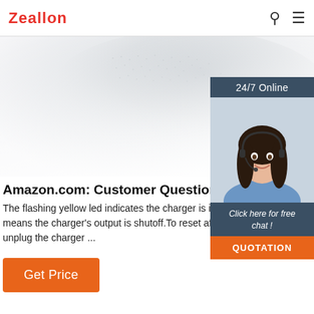Zeallon
[Figure (photo): Hero banner with gray fabric/textile texture background, gradient from dark gray to white]
[Figure (photo): Chat widget showing '24/7 Online' header, photo of smiling woman with headset, 'Click here for free chat!' text, and orange QUOTATION button]
Amazon.com: Customer Questions & Answe...
The flashing yellow led indicates the charger is in abort mode. This means the charger's output is shutoff.To reset after an abort charge, unplug the charger ...
Get Price